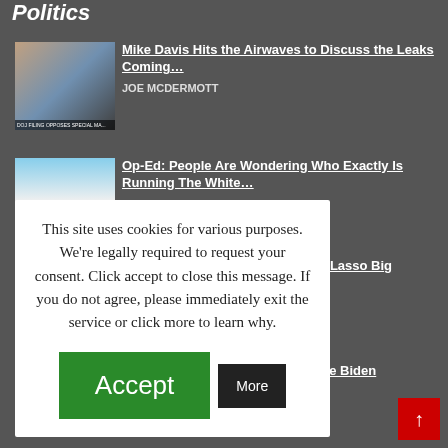Politics
[Figure (screenshot): Thumbnail image of two news anchors with chyron text reading DOJ FILING OPPOSES SPECIAL MA[STER]]
Mike Davis Hits the Airwaves to Discuss the Leaks Coming…
JOE MCDERMOTT
[Figure (photo): White House exterior photo]
Op-Ed: People Are Wondering Who Exactly Is Running The White…
to Lasso Big
Joe Biden
This site uses cookies for various purposes. We're legally required to request your consent. Click accept to close this message. If you do not agree, please immediately exit the service or click more to learn why.
Accept
More